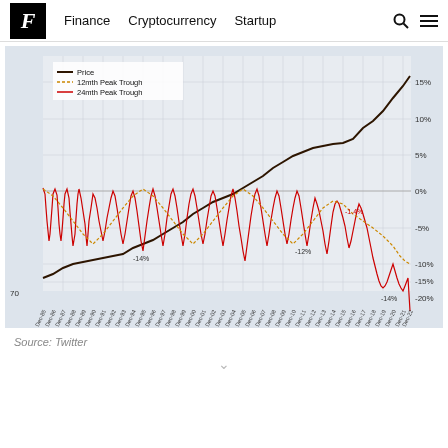F  Finance  Cryptocurrency  Startup
[Figure (line-chart): Price / 12mth Peak Trough / 24mth Peak Trough]
Source: Twitter